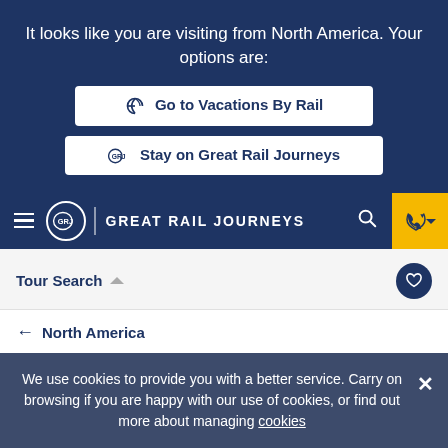It looks like you are visiting from North America. Your options are:
Go to Vacations By Rail
GRJ Stay on Great Rail Journeys
[Figure (screenshot): Great Rail Journeys navigation bar with hamburger menu, circular GRJ logo, GREAT RAIL JOURNEYS text, search icon, and yellow phone button]
Tour Search
North America
Grand Tour of America
Save
We use cookies to provide you with a better service. Carry on browsing if you are happy with our use of cookies, or find out more about managing cookies